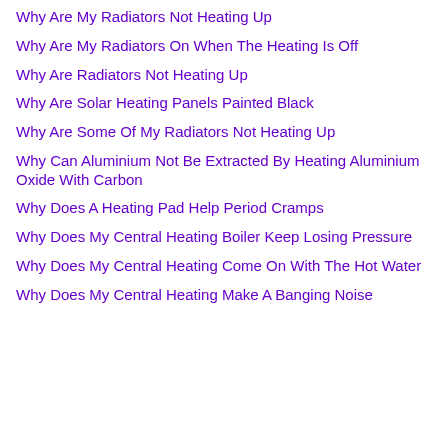Why Are My Radiators Not Heating Up
Why Are My Radiators On When The Heating Is Off
Why Are Radiators Not Heating Up
Why Are Solar Heating Panels Painted Black
Why Are Some Of My Radiators Not Heating Up
Why Can Aluminium Not Be Extracted By Heating Aluminium Oxide With Carbon
Why Does A Heating Pad Help Period Cramps
Why Does My Central Heating Boiler Keep Losing Pressure
Why Does My Central Heating Come On With The Hot Water
Why Does My Central Heating Make A Banging Noise